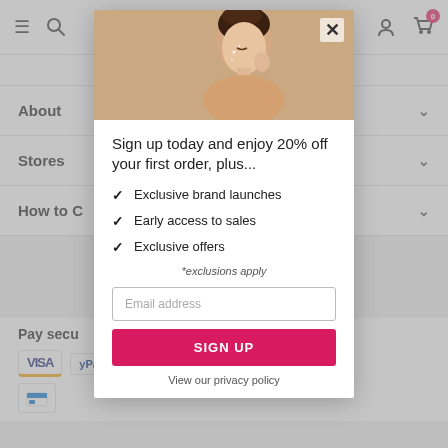[Figure (screenshot): Background website page showing navigation bar with hamburger menu, search icon, user icon, cart icon with badge 0, and accordion sections: About, Stores, How to C[omplete Order], and Pay securely section with payment icons (Visa, PayPal)]
[Figure (photo): Modal popup overlay showing a woman touching her face against a beige background, with a close (X) button]
Sign up today and enjoy 20% off your first order, plus...
Exclusive brand launches
Early access to sales
Exclusive offers
*exclusions apply
Email address
SIGN UP
View our privacy policy